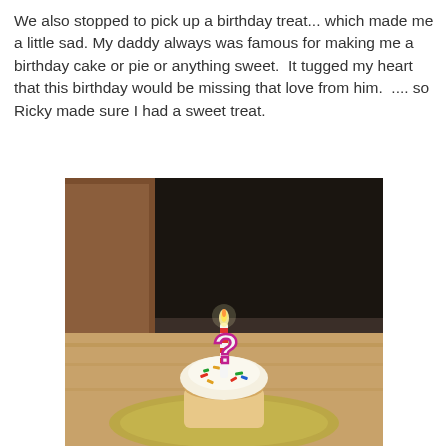We also stopped to pick up a birthday treat... which made me a little sad. My daddy always was famous for making me a birthday cake or pie or anything sweet.  It tugged my heart that this birthday would be missing that love from him.  .... so Ricky made sure I had a sweet treat.
[Figure (photo): A cupcake with white frosting and colorful sprinkles on a yellow-green plate, topped with a question-mark shaped candle that is lit, set on a wooden surface with a window in the background.]